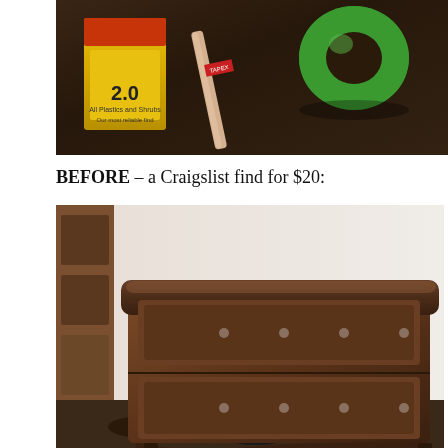[Figure (photo): Top portion showing craft supplies on a dark wooden surface: a yellow hair dye box (All Plastics and Shrubs, 2.0), a wooden stick/dowel, and a green tape roll.]
BEFORE – a Craigslist find for $20:
[Figure (photo): A brown wooden dresser with two drawers, small round knobs, curved front apron, shown in a cluttered room with shoes on the floor and furniture visible to the left.]